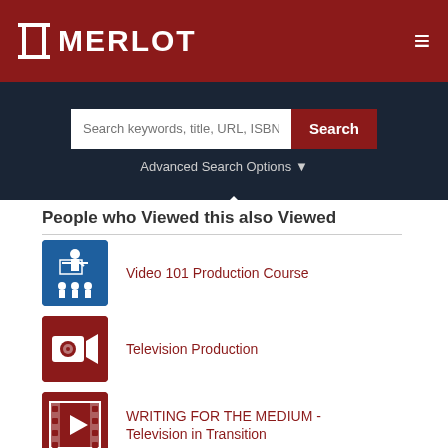[Figure (logo): MERLOT logo with pillar icon in dark red header bar]
[Figure (screenshot): Search bar with text 'Search keywords, title, URL, ISBN, o' and Search button, Advanced Search Options dropdown below]
People who Viewed this also Viewed
Video 101 Production Course
Television Production
WRITING FOR THE MEDIUM - Television in Transition
(partial fourth item)